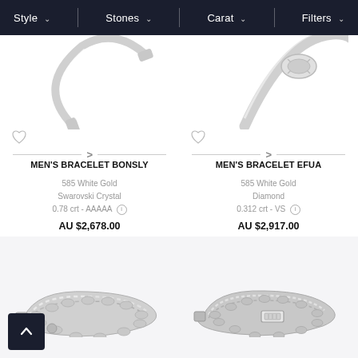Style | Stones | Carat | Filters
[Figure (photo): Partially visible silver men's bracelet Bonsly from above]
[Figure (photo): Partially visible silver men's bracelet Efua from above]
MEN'S BRACELET BONSLY
585 White Gold
Swarovski Crystal
0.78 crt - AAAAA ⓘ
AU $2,678.00
MEN'S BRACELET EFUA
585 White Gold
Diamond
0.312 crt - VS ⓘ
AU $2,917.00
[Figure (photo): Silver chain men's bracelet Bonsly product image]
[Figure (photo): Silver chain men's bracelet Efua product image with rectangular clasp]